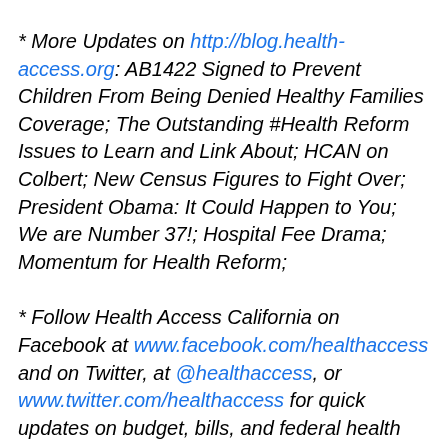* More Updates on http://blog.health-access.org: AB1422 Signed to Prevent Children From Being Denied Healthy Families Coverage; The Outstanding #Health Reform Issues to Learn and Link About; HCAN on Colbert; New Census Figures to Fight Over; President Obama: It Could Happen to You; We are Number 37!; Hospital Fee Drama; Momentum for Health Reform;
* Follow Health Access California on Facebook at www.facebook.com/healthaccess and on Twitter, at @healthaccess, or www.twitter.com/healthaccess for quick updates on budget, bills, and federal health